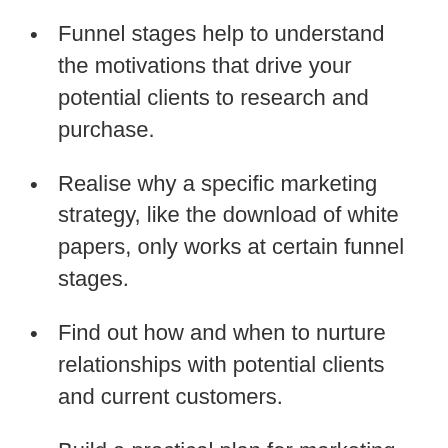Funnel stages help to understand the motivations that drive your potential clients to research and purchase.
Realise why a specific marketing strategy, like the download of white papers, only works at certain funnel stages.
Find out how and when to nurture relationships with potential clients and current customers.
Build a practical plan for marketing to users at different stages of the funnel.